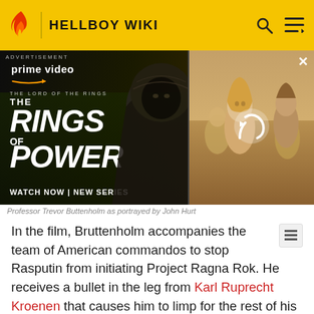HELLBOY WIKI
[Figure (screenshot): Amazon Prime Video advertisement for The Lord of the Rings: The Rings of Power. Shows a dark hooded figure on the left and a blonde woman on the right with a refresh/reload icon overlay. Text reads: ADVERTISEMENT, prime video, THE LORD OF THE RINGS, THE RINGS OF POWER, WATCH NOW | NEW SERIES]
Professor Trevor Buttenholm as portrayed by John Hurt
In the film, Bruttenholm accompanies the team of American commandos to stop Rasputin from initiating Project Ragna Rok. He receives a bullet in the leg from Karl Ruprecht Kroenen that causes him to limp for the rest of his life, but throws a hand grenade under the portal machine that both destroys the machine and maims Kroenen as he is attempting to retrieve it. When the infant Hellboy appears, Bruttenholm adopts him and dedicates